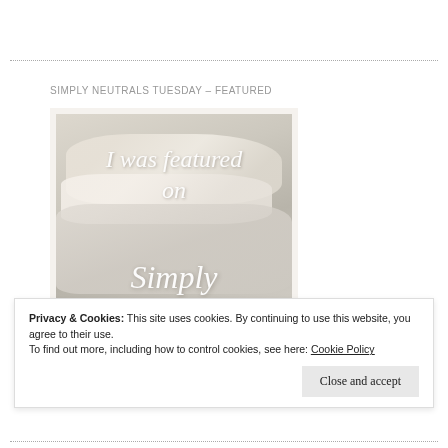SIMPLY NEUTRALS TUESDAY – FEATURED
[Figure (illustration): Blog badge image showing lace fabric with overlay text 'I was featured on Simply Neutrals']
Privacy & Cookies: This site uses cookies. By continuing to use this website, you agree to their use.
To find out more, including how to control cookies, see here: Cookie Policy
Close and accept